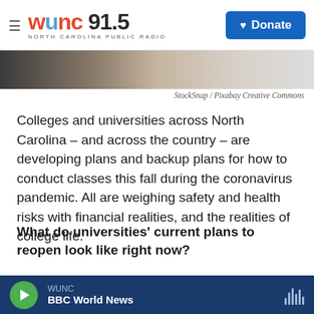WUNC 91.5 NORTH CAROLINA PUBLIC RADIO | Donate
[Figure (photo): Cropped photo strip showing top of a person's head, light background, partial image]
StockSnap / Pixabay Creative Commons
Colleges and universities across North Carolina – and across the country – are developing plans and backup plans for how to conduct classes this fall during the coronavirus pandemic. All are weighing safety and health risks with financial realities, and the realities of college life.
What do universities' current plans to reopen look like right now?
Many universities' publicly released plans are still
WUNC | BBC World News